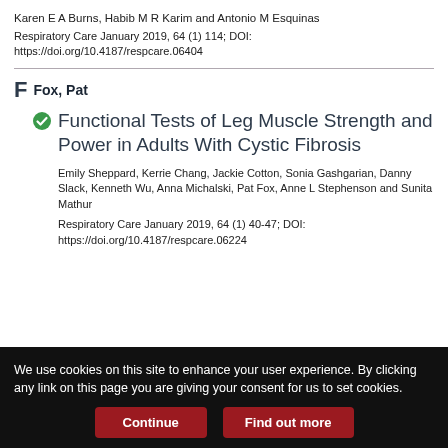Karen E A Burns, Habib M R Karim and Antonio M Esquinas
Respiratory Care January 2019, 64 (1) 114; DOI: https://doi.org/10.4187/respcare.06404
F  Fox, Pat
Functional Tests of Leg Muscle Strength and Power in Adults With Cystic Fibrosis
Emily Sheppard, Kerrie Chang, Jackie Cotton, Sonia Gashgarian, Danny Slack, Kenneth Wu, Anna Michalski, Pat Fox, Anne L Stephenson and Sunita Mathur
Respiratory Care January 2019, 64 (1) 40-47; DOI: https://doi.org/10.4187/respcare.06224
We use cookies on this site to enhance your user experience. By clicking any link on this page you are giving your consent for us to set cookies.